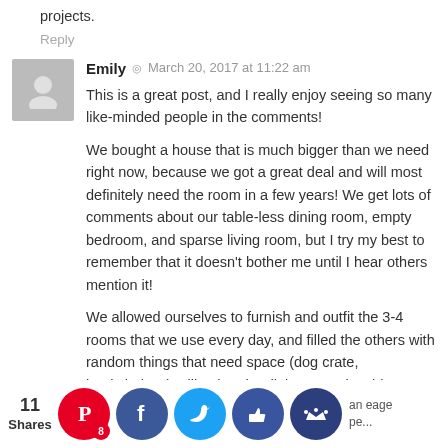projects.
Reply
Emily  •  March 20, 2017 at 11:22 am
This is a great post, and I really enjoy seeing so many like-minded people in the comments!
We bought a house that is much bigger than we need right now, because we got a great deal and will most definitely need the room in a few years! We get lots of comments about our table-less dining room, empty bedroom, and sparse living room, but I try my best to remember that it doesn't bother me until I hear others mention it!
We allowed ourselves to furnish and outfit the 3-4 rooms that we use every day, and filled the others with random things that need space (dog crate, bookshelves). I like that the dining room is a big empty space to play tug with the dog! Much more appropriate for our lifestyle right now than a second, more formal table would be.
I ... an eager ... iting ... ale se... start pe... with my ...-list in ha...
11 Shares